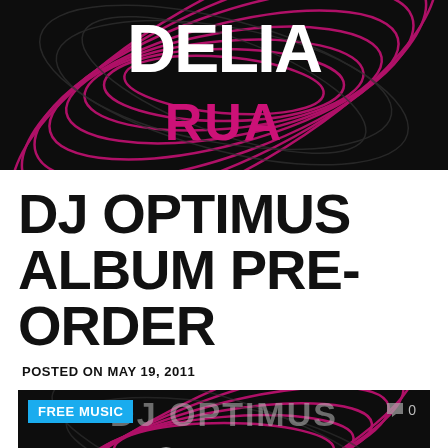[Figure (illustration): Dark background with magenta/pink swirling lines and white bold text reading DELIA RUA]
DJ OPTIMUS ALBUM PRE-ORDER
POSTED ON MAY 19, 2011
[Figure (illustration): Dark background with magenta/pink swirling lines and white bold text reading DJ OPTIMUS DOUBLE, with FREE MUSIC badge in blue and comment count 0]